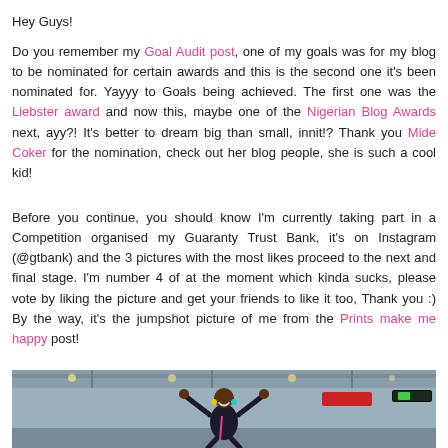Hey Guys!
Do you remember my Goal Audit post, one of my goals was for my blog to be nominated for certain awards and this is the second one it's been nominated for. Yayyy to Goals being achieved. The first one was the Liebster award and now this, maybe one of the Nigerian Blog Awards next, ayy?! It's better to dream big than small, innit!? Thank you Mide Coker for the nomination, check out her blog people, she is such a cool kid!
Before you continue, you should know I'm currently taking part in a Competition organised my Guaranty Trust Bank, it's on Instagram (@gtbank) and the 3 pictures with the most likes proceed to the next and final stage. I'm number 4 of at the moment which kinda sucks, please vote by liking the picture and get your friends to like it too, Thank you :) By the way, it's the jumpshot picture of me from the Prints make me happy post!
[Figure (photo): A woman jumping with arms raised in what appears to be an airport terminal, wearing a dark outfit with colorful accessories, smiling.]